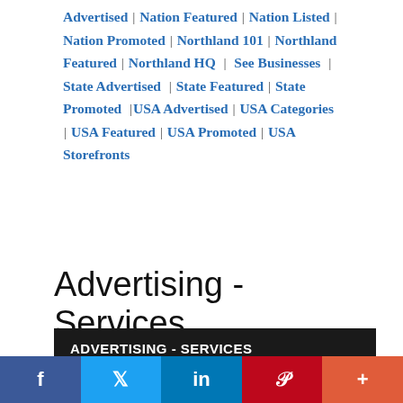Advertised | Nation Featured | Nation Listed | Nation Promoted | Northland 101 | Northland Featured | Northland HQ | See Businesses | State Advertised | State Featured | State Promoted | USA Advertised | USA Categories | USA Featured | USA Promoted | USA Storefronts
Advertising - Services
ADVERTISING - SERVICES
Find and post more national to local business related and local information on these digital
f | Twitter | in | Pinterest | +